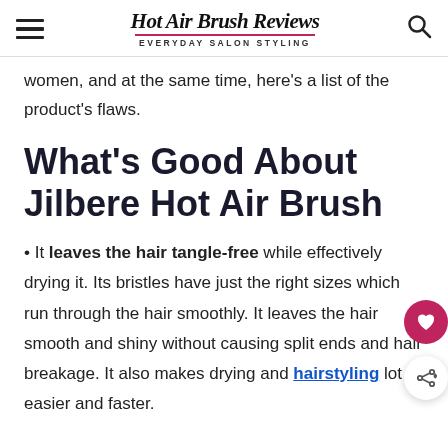Hot Air Brush Reviews — EVERYDAY SALON STYLING
women, and at the same time, here's a list of the product's flaws.
What's Good About Jilbere Hot Air Brush
It leaves the hair tangle-free while effectively drying it. Its bristles have just the right sizes which run through the hair smoothly. It leaves the hair smooth and shiny without causing split ends and hair breakage. It also makes drying and hairstyling lot easier and faster.